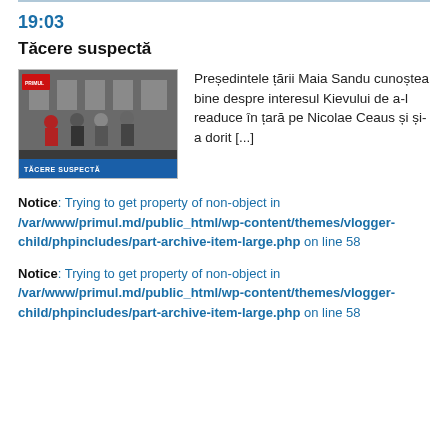19:03
Tăcere suspectă
[Figure (photo): News broadcast screenshot showing people in masks in front of a building, with a blue lower-third bar reading 'TĂCERE SUSPECTĂ' and a red label in top left corner.]
Președintele țării Maia Sandu cunoștea bine despre interesul Kievului de a-l readuce în țară pe Nicolae Ceaus și și-a dorit [...]
Notice: Trying to get property of non-object in /var/www/primul.md/public_html/wp-content/themes/vlogger-child/phpincludes/part-archive-item-large.php on line 58
Notice: Trying to get property of non-object in /var/www/primul.md/public_html/wp-content/themes/vlogger-child/phpincludes/part-archive-item-large.php on line 58